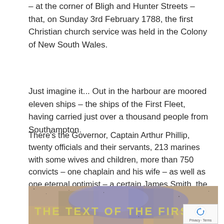– at the corner of Bligh and Hunter Streets – that, on Sunday 3rd February 1788, the first Christian church service was held in the Colony of New South Wales.
Just imagine it... Out in the harbour are moored eleven ships – the ships of the First Fleet, having carried just over a thousand people from Southampton.
There's the Governor, Captain Arthur Phillip, twenty officials and their servants, 213 marines with some wives and children, more than 750 convicts – one chaplain and his wife – as well as one eternal optimist – a certain James Smith, the man who had actually stowed away on the First Fleet! (Marcus Loane, Hewn from the Rock, 1997-2016).
[Figure (photo): A photo of a stone or textured surface with text overlay reading 'THE TEXT OF THE FIRST SERMO' (partially visible), with a reCAPTCHA badge in the bottom right corner showing 'Privacy · Terms'.]